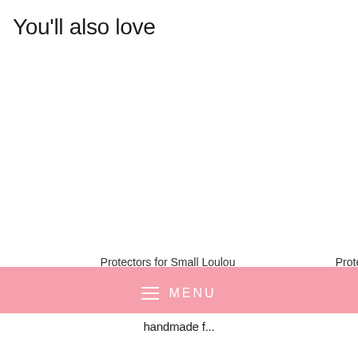You'll also love
[Figure (photo): Product image placeholder for Protectors for Small Loulou (white/blank area)]
Protectors for Small Loulou
$13.00
[Figure (photo): Partial product image for second product (Protec...) cut off at right edge]
Protec
≡  MENU
handmade f...